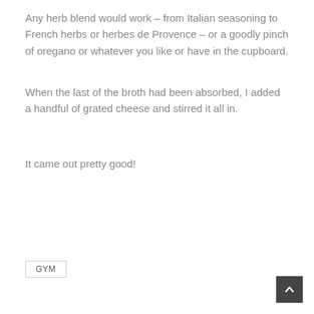Any herb blend would work – from Italian seasoning to French herbs or herbes de Provence – or a goodly pinch of oregano or whatever you like or have in the cupboard.
When the last of the broth had been absorbed, I added a handful of grated cheese and stirred it all in.
It came out pretty good!
GYM
[Figure (other): Scroll to top button with upward chevron arrow, dark grey background]